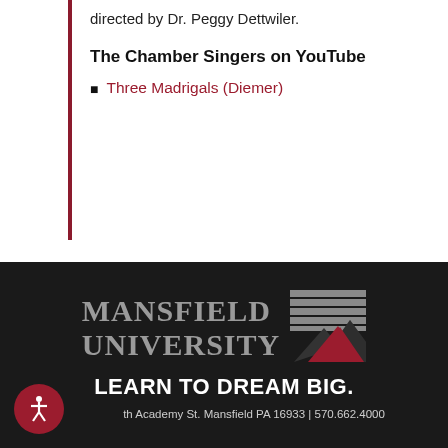directed by Dr. Peggy Dettwiler.
The Chamber Singers on YouTube
Three Madrigals (Diemer)
[Figure (logo): Mansfield University logo with mountain graphic and 'LEARN TO DREAM BIG.' tagline on dark background, with address: th Academy St. Mansfield PA 16933 | 570.662.4000]